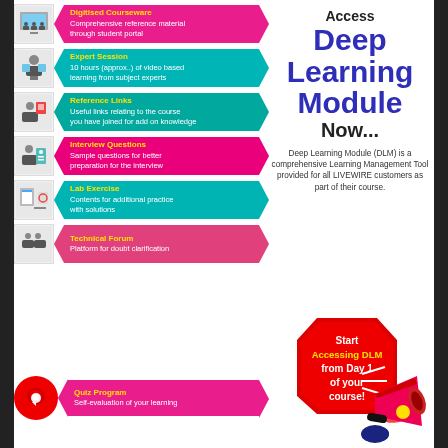Access Deep Learning Module Now...
Deep Learning Module (DLM) is a comprehensive Learning Management Tool provided for all LIVEWIRE customers as part of their course.
Digitised Courseware: Comprehensive reference material through student portal
Expert Session: 10 hours (approx..) of video based learning from subject experts
Reference Links: Useful links relating to the course you have joined for add on knowledge
Interview Questions: Sample questions for better preparation for the interview
Lab Exercise: Contents for additional practice with solutions
Technical Forum: Platform for doubt clarification
Quiz Program: Self-evaluation of your learning
[Figure (infographic): Start Accessing DLM from Day 1 of your course! with megaphone graphic inside red hexagon badge]